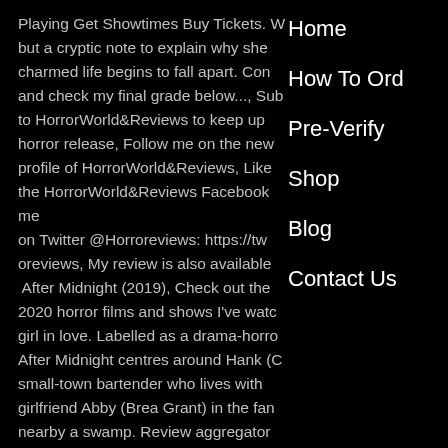Playing Get Showtimes Buy Tickets. W but a cryptic note to explain why she charmed life begins to fall apart. Con and check my final grade below..., Sub to HorrorWorld&Reviews to keep up horror release, Follow me on the new profile of HorrorWorld&Reviews, Like the HorrorWorld&Reviews Facebook me on Twitter @Horroreviews: https://tw oreviews, My review is also available After Midnight (2019), Check out the 2020 horror films and shows I've watc girl in love. Labelled as a drama-horro After Midnight centres around Hank (C small-town bartender who lives with girlfriend Abby (Brea Grant) in the fan nearby a swamp. Review aggregator Tomatoes reports a rating of 88% ba
Home
How To Ord
Pre-Verify
Shop
Blog
Contact Us